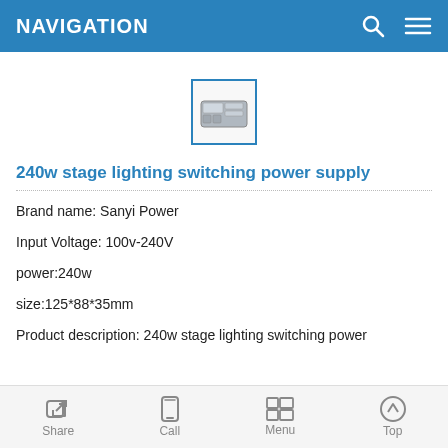NAVIGATION
[Figure (photo): Small thumbnail image of a 240w stage lighting switching power supply unit, shown inside a blue-bordered box]
240w stage lighting switching power supply
Brand name: Sanyi Power
Input Voltage: 100v-240V
power:240w
size:125*88*35mm
Product description: 240w stage lighting switching power
Share   Call   Menu   Top